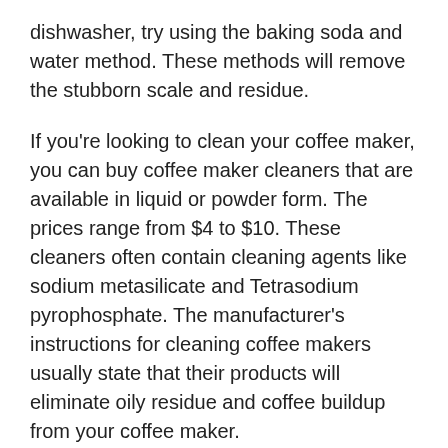dishwasher, try using the baking soda and water method. These methods will remove the stubborn scale and residue.
If you're looking to clean your coffee maker, you can buy coffee maker cleaners that are available in liquid or powder form. The prices range from $4 to $10. These cleaners often contain cleaning agents like sodium metasilicate and Tetrasodium pyrophosphate. The manufacturer's instructions for cleaning coffee makers usually state that their products will eliminate oily residue and coffee buildup from your coffee maker.
There are many issues that can arise with a coffee maker. Not only do you have a coffee maker that doesn't work as well as it should, but you're also likely to find grit and coffee grounds in the pot. By cleaning it regularly, you'll keep the oils in your coffee from going